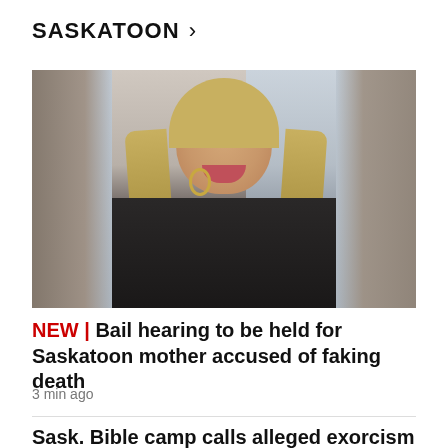SASKATOON >
[Figure (photo): Photo of a smiling woman with long blonde hair, wearing a dark jacket and hoop earrings, photographed indoors near a window.]
NEW | Bail hearing to be held for Saskatoon mother accused of faking death
3 min ago
Sask. Bible camp calls alleged exorcism an 'isolated incident'